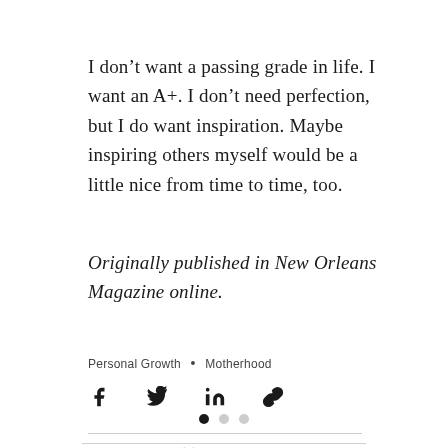I don’t want a passing grade in life. I want an A+. I don’t need perfection, but I do want inspiration. Maybe inspiring others myself would be a little nice from time to time, too.
Originally published in New Orleans Magazine online.
Personal Growth • Motherhood
[Figure (infographic): Social share icons: Facebook, Twitter, LinkedIn, link]
20 views, comment icon, heart/like icon
[Figure (infographic): Pagination dots: filled black, light gray, light gray]